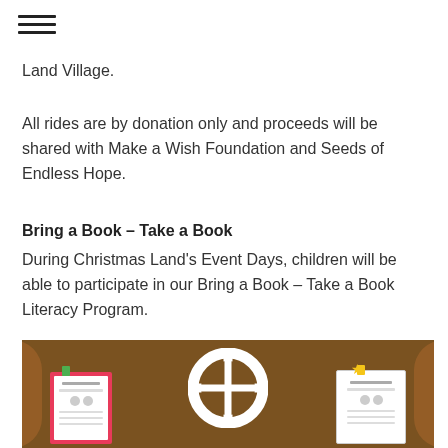≡
Land Village.
All rides are by donation only and proceeds will be shared with Make a Wish Foundation and Seeds of Endless Hope.
Bring a Book – Take a Book
During Christmas Land's Event Days, children will be able to participate in our Bring a Book – Take a Book Literacy Program.
[Figure (photo): Photo of a gingerbread house display with a large white circular window with cross dividers on a brown background. Two book exchange program cards are clipped on either side — one with a red/pink border on the left and one with a white/green border on the right. Star decorations are visible.]